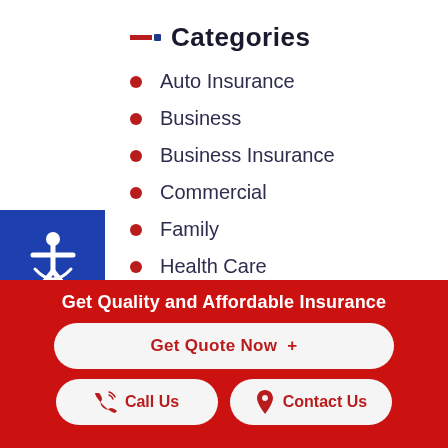Categories
Auto Insurance
Business
Business Insurance
Commercial
Family
Health Care
Health Insurance
Home Insurance
Get Quality and Affordable Insurance
Get Quote Now  +
Call Us
Contact Us